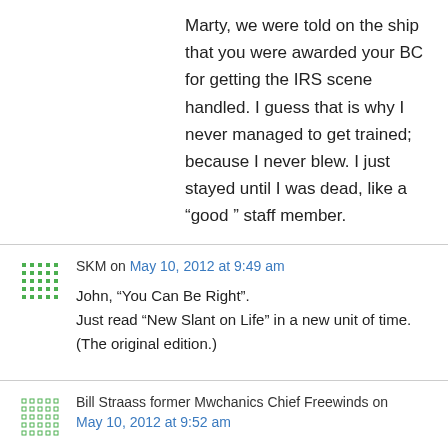Marty, we were told on the ship that you were awarded your BC for getting the IRS scene handled. I guess that is why I never managed to get trained; because I never blew. I just stayed until I was dead, like a “good ” staff member.
SKM on May 10, 2012 at 9:49 am
John, “You Can Be Right”.
Just read “New Slant on Life” in a new unit of time.
(The original edition.)
Bill Straass former Mwchanics Chief Freewinds on May 10, 2012 at 9:52 am